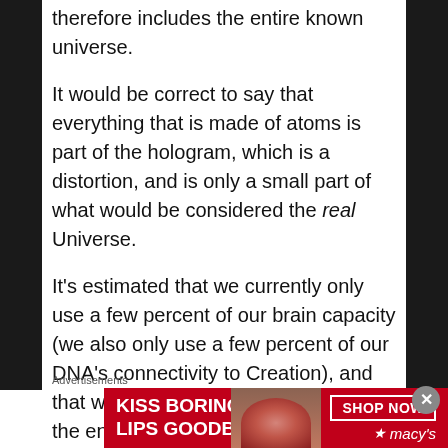therefore includes the entire known universe.
It would be correct to say that everything that is made of atoms is part of the hologram, which is a distortion, and is only a small part of what would be considered the real Universe.
It’s estimated that we currently only use a few percent of our brain capacity (we also only use a few percent of our DNA’s connectivity to Creation), and that we can only perceive about 4% or the entire universe. In fact, even these 4% are compromised because they are “overlapped” by a hologram, which is a partial “copy” of a partially
Advertisements
[Figure (photo): Macy’s advertisement banner: red background with white bold text ‘KISS BORING LIPS GOODBYE’ on the left, a woman’s face with red lips in center, and a ‘SHOP NOW’ button with Macy’s star logo on the right.]